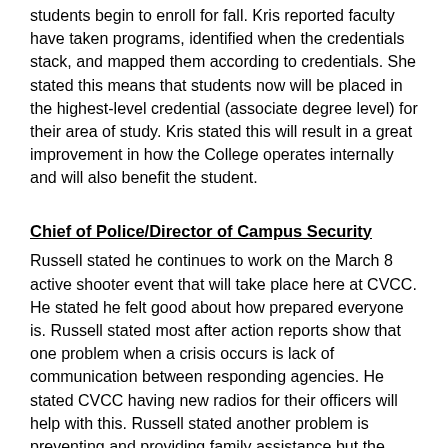students begin to enroll for fall. Kris reported faculty have taken programs, identified when the credentials stack, and mapped them according to credentials. She stated this means that students now will be placed in the highest-level credential (associate degree level) for their area of study. Kris stated this will result in a great improvement in how the College operates internally and will also benefit the student.
Chief of Police/Director of Campus Security
Russell stated he continues to work on the March 8 active shooter event that will take place here at CVCC. He stated he felt good about how prepared everyone is. Russell stated most after action reports show that one problem when a crisis occurs is lack of communication between responding agencies. He stated CVCC having new radios for their officers will help with this. Russell stated another problem is preventing and providing family assistance but the unification plan will help with this. Russell stated several “Civilian Response to an Active Shooter Event” information sessions are planned to inform faculty and staff on how to respond appropriately in any setting. Russell reported he sent letters home to STEM students and the